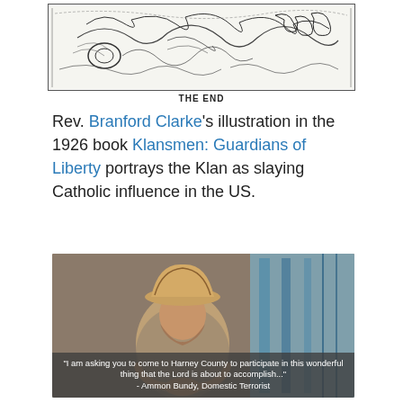[Figure (illustration): Top portion of a black-and-white pen illustration (partially visible), showing animals and figures in a dramatic scene. Below the image is the caption 'THE END'.]
THE END
Rev. Branford Clarke's illustration in the 1926 book Klansmen: Guardians of Liberty portrays the Klan as slaying Catholic influence in the US.
[Figure (photo): Photo of a man wearing a cowboy hat and patterned shirt, seated indoors with windows visible in the background. A semi-transparent overlay at the bottom shows a quote: "I am asking you to come to Harney County to participate in this wonderful thing that the Lord is about to accomplish..." - Ammon Bundy, Domestic Terrorist]